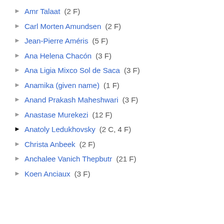▶ Amr Talaat (2 F)
▶ Carl Morten Amundsen (2 F)
▶ Jean-Pierre Améris (5 F)
▶ Ana Helena Chacón (3 F)
▶ Ana Ligia Mixco Sol de Saca (3 F)
▶ Anamika (given name) (1 F)
▶ Anand Prakash Maheshwari (3 F)
▶ Anastase Murekezi (12 F)
▶ Anatoly Ledukhovsky (2 C, 4 F)
▶ Christa Anbeek (2 F)
▶ Anchalee Vanich Thepbutr (21 F)
▶ Koen Anciaux (3 F)